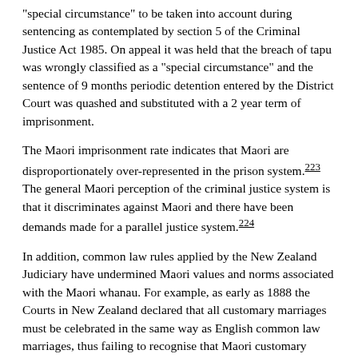"special circumstance" to be taken into account during sentencing as contemplated by section 5 of the Criminal Justice Act 1985. On appeal it was held that the breach of tapu was wrongly classified as a "special circumstance" and the sentence of 9 months periodic detention entered by the District Court was quashed and substituted with a 2 year term of imprisonment.
The Maori imprisonment rate indicates that Maori are disproportionately over-represented in the prison system.[223] The general Maori perception of the criminal justice system is that it discriminates against Maori and there have been demands made for a parallel justice system.[224]
In addition, common law rules applied by the New Zealand Judiciary have undermined Maori values and norms associated with the Maori whanau. For example, as early as 1888 the Courts in New Zealand declared that all customary marriages must be celebrated in the same way as English common law marriages, thus failing to recognise that Maori customary marriages were different to European marriages.[225] This approach to Maori customary law is to be compared to that of the Privy Council which in 1919 held that the right of Maori to modify their adoption customs was not interfered with by the